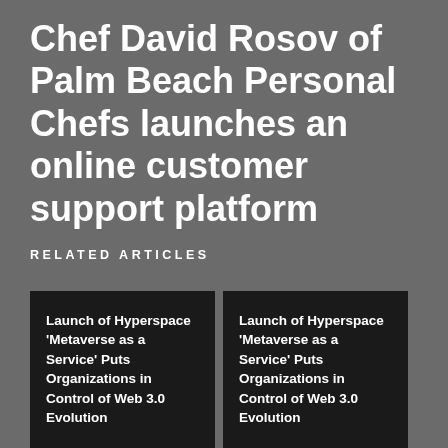Chef David Rosov of Palm Beach Personal Chefs launches an online customer support platform
RELATED ARTICLES
Launch of Hyperspace 'Metaverse as a Service' Puts Organizations in Control of Web 3.0 Evolution
Launch of Hyperspace 'Metaverse as a Service' Puts Organizations in Control of Web 3.0 Evolution